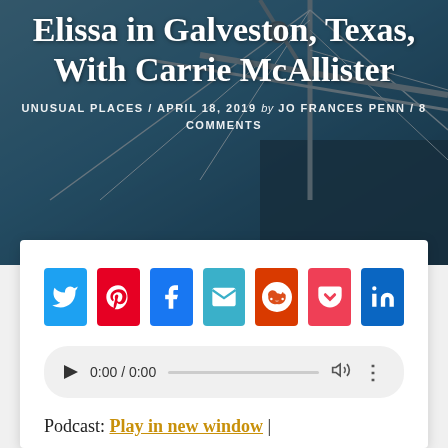Elissa in Galveston, Texas, With Carrie McAllister
UNUSUAL PLACES / APRIL 18, 2019 by JO FRANCES PENN / 8 COMMENTS
[Figure (photo): Hero image of tall ship mast and rigging against sky with text overlay]
[Figure (screenshot): Social share buttons: Twitter, Pinterest, Facebook, Email, Reddit, Pocket, LinkedIn]
[Figure (other): Audio player showing 0:00 / 0:00 with play button, progress bar, volume and more options]
Podcast: Play in new window |